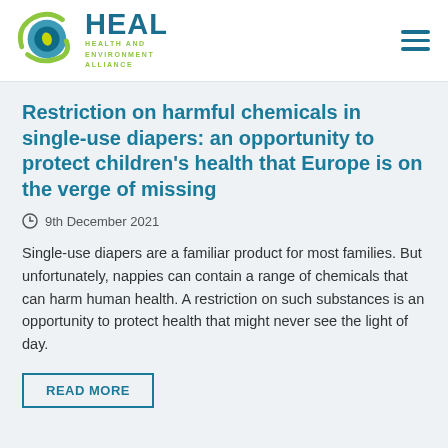[Figure (logo): HEAL Health and Environment Alliance logo with circular blue/green graphic and text]
Restriction on harmful chemicals in single-use diapers: an opportunity to protect children's health that Europe is on the verge of missing
9th December 2021
Single-use diapers are a familiar product for most families. But unfortunately, nappies can contain a range of chemicals that can harm human health. A restriction on such substances is an opportunity to protect health that might never see the light of day.
READ MORE